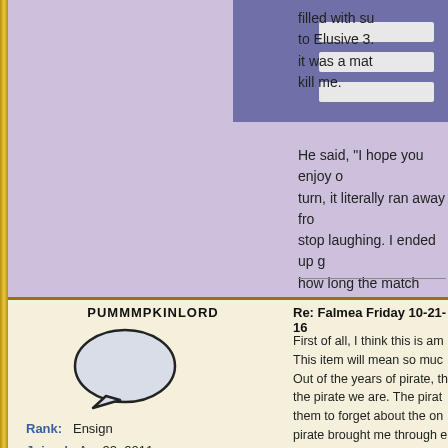filled with su to Elusive 3. it was a mat kill me.
He said, "I hope you enjoy o turn, it literally ran away fro stop laughing. I ended up g how long the match lasted, happened, we had a great t
PUMMMPKINLORD
Rank: Ensign
Joined: Apr 22, 2011
Posts: 3
Re: Falmea Friday 10-21-16
First of all, I think this is am This item will mean so muc Out of the years of pirate, th the pirate we are. The pirat them to forget about the on pirate brought me through e like you had a family with be